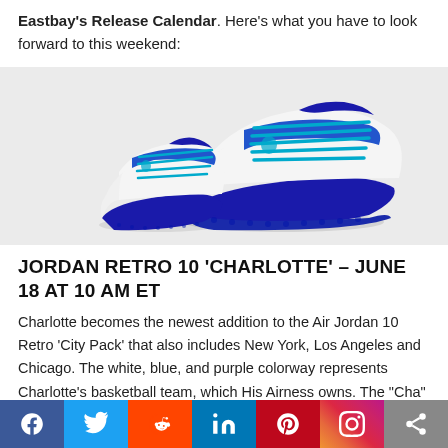Eastbay's Release Calendar. Here's what you have to look forward to this weekend:
[Figure (photo): Two white, blue, and purple Air Jordan 10 Retro 'Charlotte' sneakers (one adult size and one child size) displayed against a light gray background.]
JORDAN RETRO 10 'CHARLOTTE' – JUNE 18 AT 10 AM ET
Charlotte becomes the newest addition to the Air Jordan 10 Retro 'City Pack' that also includes New York, Los Angeles and Chicago. The white, blue, and purple colorway represents Charlotte's basketball team, which His Airness owns. The "Cha" is another reference to the
Social share bar: Facebook, Twitter, Reddit, LinkedIn, Pinterest, Instagram, Share